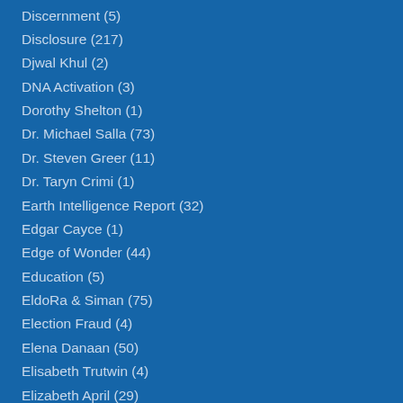Discernment (5)
Disclosure (217)
Djwal Khul (2)
DNA Activation (3)
Dorothy Shelton (1)
Dr. Michael Salla (73)
Dr. Steven Greer (11)
Dr. Taryn Crimi (1)
Earth Intelligence Report (32)
Edgar Cayce (1)
Edge of Wonder (44)
Education (5)
EldoRa & Siman (75)
Election Fraud (4)
Elena Danaan (50)
Elisabeth Trutwin (4)
Elizabeth April (29)
Enlightened Songs (17)